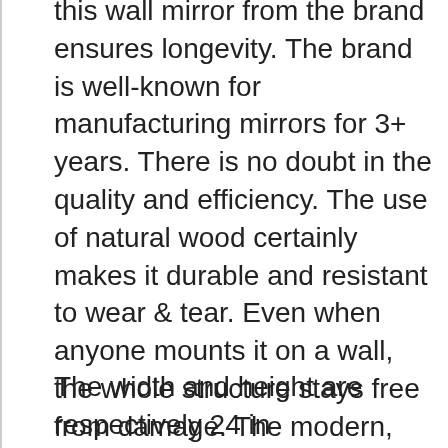this wall mirror from the brand ensures longevity. The brand is well-known for manufacturing mirrors for 3+ years. There is no doubt in the quality and efficiency. The use of natural wood certainly makes it durable and resistant to wear & tear. Even when anyone mounts it on a wall, the whole structure stays free from damage. The modern, sleek design makes it pertinent for an entryway, hallway, living room, bedroom, bathroom, etc.
The width and height are respectively 24 inches and 36 inches. The shelf is